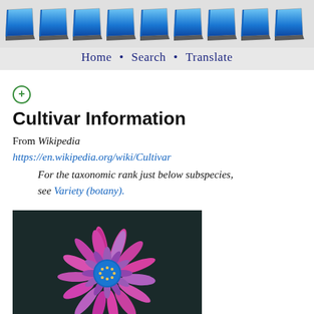[Figure (illustration): Row of blue book/notebook icons arranged horizontally on a gray background forming a decorative header]
Home • Search • Translate
Cultivar Information
From Wikipedia https://en.wikipedia.org/wiki/Cultivar  For the taxonomic rank just below subspecies, see Variety (botany).
[Figure (photo): Close-up photograph of a cultivated flower (Osteospermum) with pink/purple spoon-shaped petals and a blue center, on a dark background]